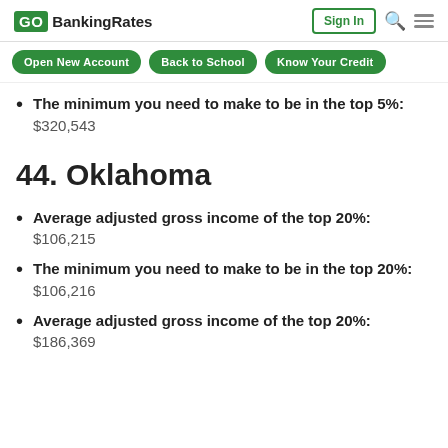GOBankingRates | Sign In
The minimum you need to make to be in the top 5%: $320,543
44. Oklahoma
Average adjusted gross income of the top 20%: $106,215
The minimum you need to make to be in the top 20%: $106,216
Average adjusted gross income of the top 20%: $186,369